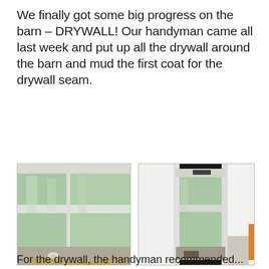We finally got some big progress on the barn – DRYWALL! Our handyman came all last week and put up all the drywall around the barn and mud the first coat for the drywall seam.
[Figure (photo): Interior photo of a barn room showing green drywall installed on walls with white mud/compound seams, power tools and cords on the floor.]
[Figure (photo): Interior photo showing a doorway opening into a room with green drywall on walls and white framing, tools and equipment visible on the floor.]
For the drywall, the handyman recommended...